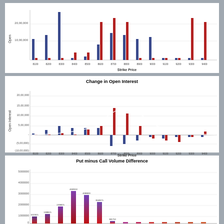[Figure (grouped-bar-chart): Open Interest (partial top)]
[Figure (grouped-bar-chart): Change in Open Interest]
[Figure (bar-chart): Put minus Call Volume Difference]